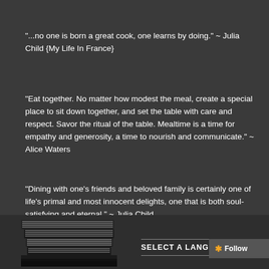"...no one is born a great cook, one learns by doing." ~ Julia Child {My Life In France}
"Eat together. No matter how modest the meal, create a special place to sit down together, and set the table with care and respect. Savor the ritual of the table. Mealtime is a time for empathy and generosity, a time to nourish and communicate." ~ Alice Waters
"Dining with one's friends and beloved family is certainly one of life's primal and most innocent delights, one that is both soul-satisfying and eternal." ~ Julia Child
[Figure (illustration): Stack of books at bottom left]
SELECT A LANGUAGE
Follow